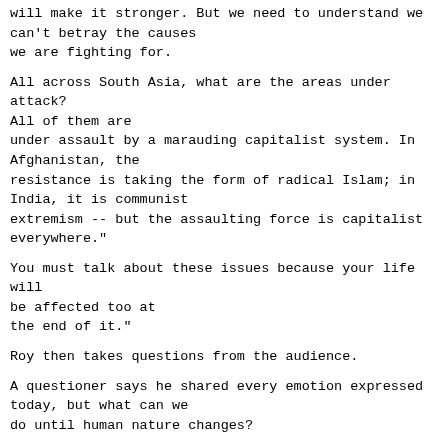will make it stronger. But we need to understand we can't betray the causes we are fighting for.
All across South Asia, what are the areas under attack? All of them are under assault by a marauding capitalist system. In Afghanistan, the resistance is taking the form of radical Islam; in India, it is communist extremism -- but the assaulting force is capitalist everywhere."
You must talk about these issues because your life will be affected too at the end of it."
Roy then takes questions from the audience.
A questioner says he shared every emotion expressed today, but what can we do until human nature changes?
Roy: We shouldn't conclude that human nature is greedy. IT is also sensible. The most successful secessionist movement in this country is the secession of the middle and upper class in this country. They are sitting there and saying 'What is our bauxite doing in their mountains.